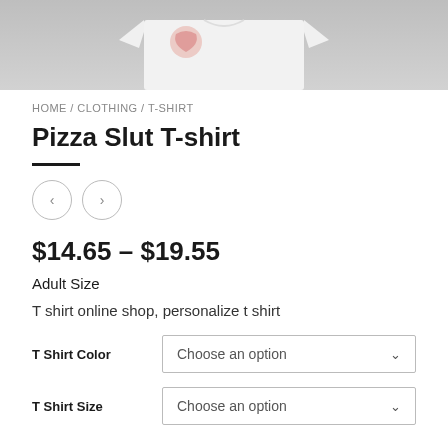[Figure (photo): Top portion of a white t-shirt hanging, partially cropped, with a red graphic logo visible at the top left, against a light gray background.]
HOME / CLOTHING / T-SHIRT
Pizza Slut T-shirt
$14.65 – $19.55
Adult Size
T shirt online shop, personalize t shirt
T Shirt Color  Choose an option
T Shirt Size  Choose an option